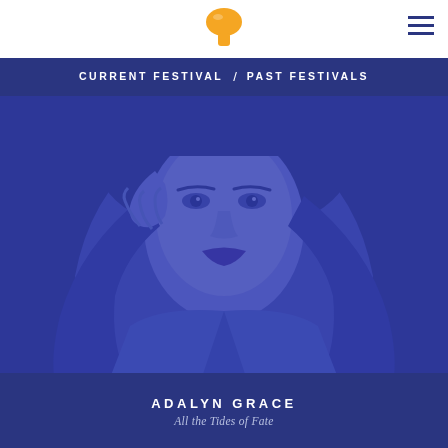CURRENT FESTIVAL / PAST FESTIVALS
[Figure (photo): Blue-tinted portrait photo of a young woman with long dark hair, looking directly at the camera with hand raised near her face]
ADALYN GRACE
All the Tides of Fate